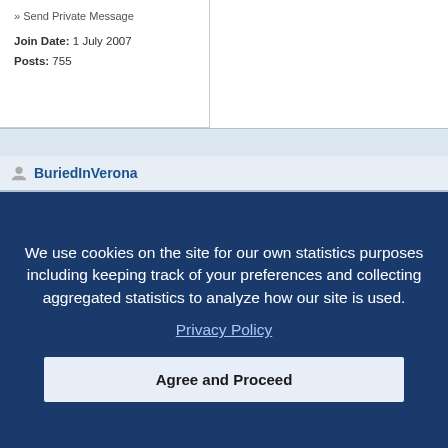» Send Private Message
Join Date: 1 July 2007
Posts: 755
BuriedInVerona
Posted 1 August 2011 - 10:29 am
chemical.
II_
» Send Private Message
We use cookies on the site for our own statistics purposes including keeping track of your preferences and collecting aggregated statistics to analyze how our site is used.
Privacy Policy
Agree and Proceed